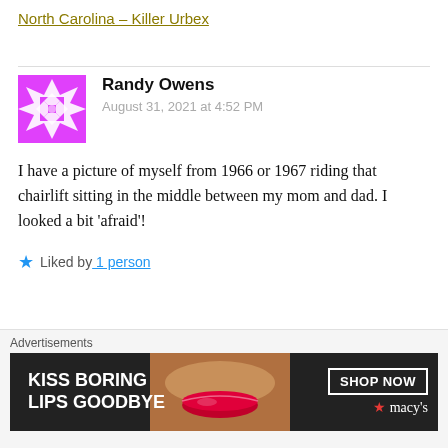North Carolina – Killer Urbex
Randy Owens
August 31, 2021 at 4:52 PM
I have a picture of myself from 1966 or 1967 riding that chairlift sitting in the middle between my mom and dad. I looked a bit 'afraid'!
Liked by 1 person
Reply
Advertisements
KISS BORING LIPS GOODBYE   SHOP NOW   ★macys